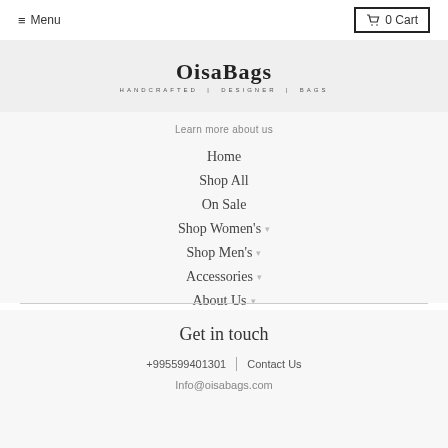≡ Menu | 🛒 0 Cart
[Figure (logo): OisaBags logo with text 'HANDCRAFTED | DESIGNER | BAGS']
Learn more about us
Home
Shop All
On Sale
Shop Women's ▾
Shop Men's ▾
Accessories ▾
About Us ▾
New Arrivals
Get in touch
+995599401301 | Contact Us
Info@oisabags.com